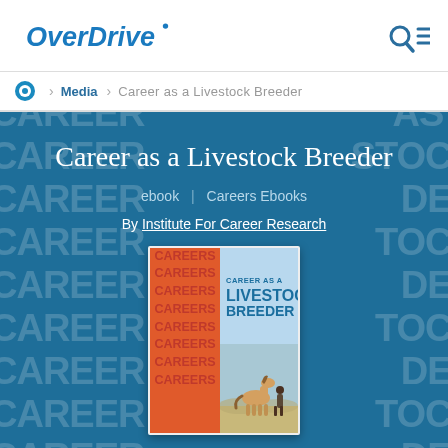OverDrive
Media > Career as a Livestock Breeder
Career as a Livestock Breeder
ebook | Careers Ebooks
By Institute For Career Research
[Figure (illustration): Book cover for 'Career as a Livestock Breeder' by Institute For Career Research. Left half shows repeated CAREERS text in red/orange on orange background. Right half shows blue panel with 'CAREER AS A LIVESTOCK BREEDER' text and a photo of a horse with a person in an open field.]